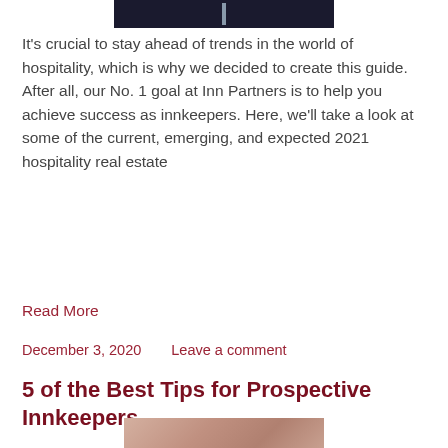[Figure (photo): Partial photo visible at top of page, dark background with a vertical light element]
It's crucial to stay ahead of trends in the world of hospitality, which is why we decided to create this guide. After all, our No. 1 goal at Inn Partners is to help you achieve success as innkeepers. Here, we'll take a look at some of the current, emerging, and expected 2021 hospitality real estate
Read More
December 3, 2020    Leave a comment
5 of the Best Tips for Prospective Innkeepers
[Figure (photo): Partial photo visible at bottom of page, floral/garden imagery]